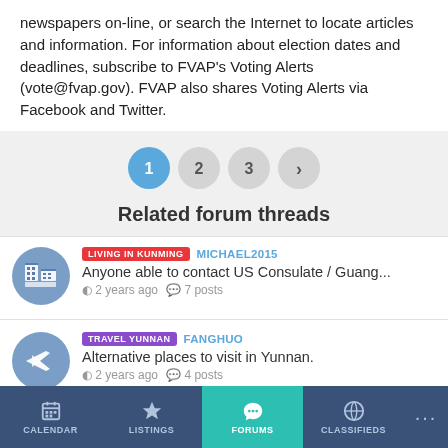newspapers on-line, or search the Internet to locate articles and information. For information about election dates and deadlines, subscribe to FVAP's Voting Alerts (vote@fvap.gov). FVAP also shares Voting Alerts via Facebook and Twitter.
[Figure (screenshot): Pagination controls: page 1 (active, blue), 2, 3, and next arrow button]
Related forum threads
[Figure (screenshot): Forum thread icon: building/city icon on blue circle background]
LIVING IN KUNMING  MICHAEL2015
Anyone able to contact US Consulate / Guang...
2 years ago  7 posts
[Figure (screenshot): Forum thread icon: airplane icon on blue circle background]
TRAVEL YUNNAN  FANGHUO
Alternative places to visit in Yunnan.
2 years ago  4 posts
[Figure (screenshot): Bottom navigation bar with CALENDAR, LISTINGS, FORUMS (active/teal), CLASSIFIEDS, and more (...)]